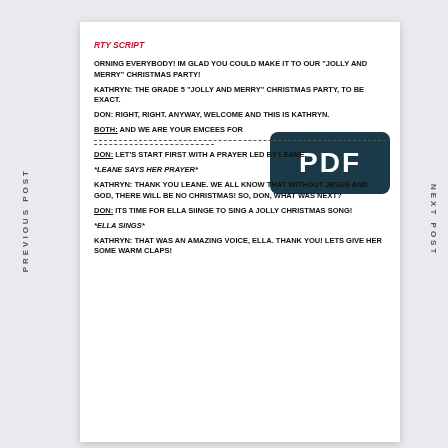RTY SCRIPT
ORNING EVERYBODY! IM GLAD YOU COULD MAKE IT TO OUR "JOLLY AND MERRY" CHRISTMAS PARTY!
KATHRYN: THE GRADE 5 "JOLLY AND MERRY" CHRISTMAS PARTY, TO BE EXACT.
DON: RIGHT, RIGHT. ANYWAY, WELCOME AND THIS IS KATHRYN.
BOTH: AND WE ARE YOUR EMCEES FOR
DON: LET'S START FIRST WITH A PRAYER LED BY LEANE.
*LEANE SAYS HER PRAYER*
KATHRYN: THANK YOU LEANE. WE ALL KNOW THAT WITHOUT JESUS AND GOD, THERE WILL BE NO CHRISTMAS! SO, DON, WHAT WAS NEXT?
DON: ITS TIME FOR ELLA SIINGE TO SING A JOLLY CHRISTMAS SONG!
*ELLA SINGS*
KATHRYN: THAT WAS AN AMAZING VOICE, ELLA. THANK YOU! LETS GIVE HER SOME WARM CLAPS!